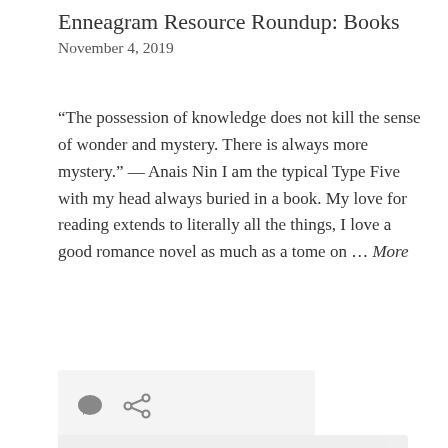Enneagram Resource Roundup: Books
November 4, 2019
“The possession of knowledge does not kill the sense of wonder and mystery. There is always more mystery.” — Anais Nin I am the typical Type Five with my head always buried in a book. My love for reading extends to literally all the things, I love a good romance novel as much as a tome on … More
[Figure (other): Icon bar with comment bubble and share/link icons on a light grey background]
[Figure (other): Partial second card/post preview with a grey image placeholder on the left and text 'So & Sx' on the right side]